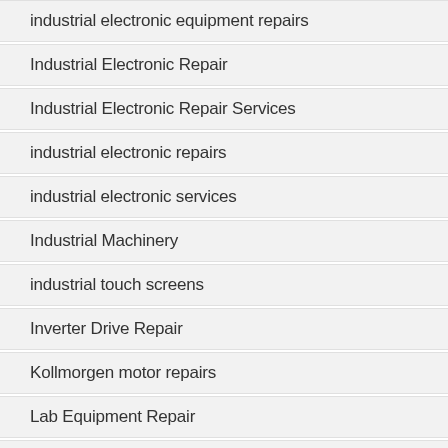industrial electronic equipment repairs
Industrial Electronic Repair
Industrial Electronic Repair Services
industrial electronic repairs
industrial electronic services
Industrial Machinery
industrial touch screens
Inverter Drive Repair
Kollmorgen motor repairs
Lab Equipment Repair
Manufacturers
Mitsubishi Electric Automation motor repairs